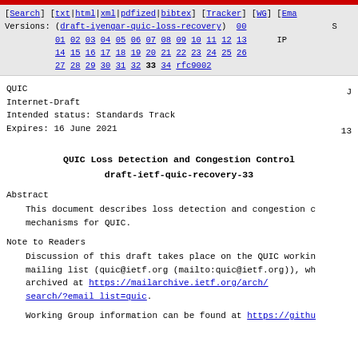[Search] [txt|html|xml|pdfized|bibtex] [Tracker] [WG] [Ema... Versions: (draft-iyengar-quic-loss-recovery) 00 S 01 02 03 04 05 06 07 08 09 10 11 12 13 IP 14 15 16 17 18 19 20 21 22 23 24 25 26 27 28 29 30 31 32 33 34 rfc9002
QUIC
Internet-Draft
Intended status: Standards Track
Expires: 16 June 2021
13
QUIC Loss Detection and Congestion Control
draft-ietf-quic-recovery-33
Abstract
This document describes loss detection and congestion c... mechanisms for QUIC.
Note to Readers
Discussion of this draft takes place on the QUIC workin... mailing list (quic@ietf.org (mailto:quic@ietf.org)), wh... archived at https://mailarchive.ietf.org/arch/search/?email list=quic.
Working Group information can be found at https://githu...